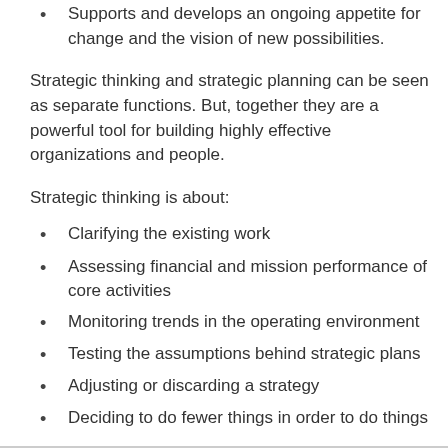Supports and develops an ongoing appetite for change and the vision of new possibilities.
Strategic thinking and strategic planning can be seen as separate functions. But, together they are a powerful tool for building highly effective organizations and people.
Strategic thinking is about:
Clarifying the existing work
Assessing financial and mission performance of core activities
Monitoring trends in the operating environment
Testing the assumptions behind strategic plans
Adjusting or discarding a strategy
Deciding to do fewer things in order to do things